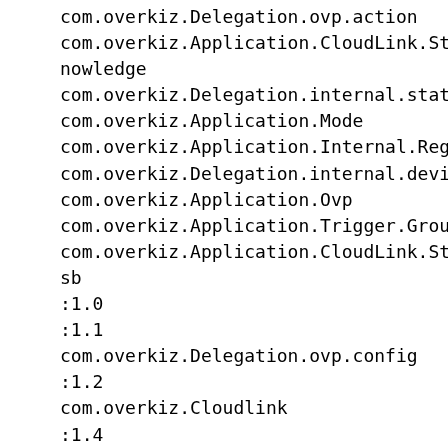com.overkiz.Delegation.ovp.action
com.overkiz.Application.CloudLink.Status.knowledge
com.overkiz.Delegation.internal.state
com.overkiz.Application.Mode
com.overkiz.Application.Internal.Region
com.overkiz.Delegation.internal.device
com.overkiz.Application.Ovp
com.overkiz.Application.Trigger.Group
com.overkiz.Application.CloudLink.Status.usb
:1.0
:1.1
com.overkiz.Delegation.ovp.config
:1.2
com.overkiz.Cloudlink
:1.4
:1.5